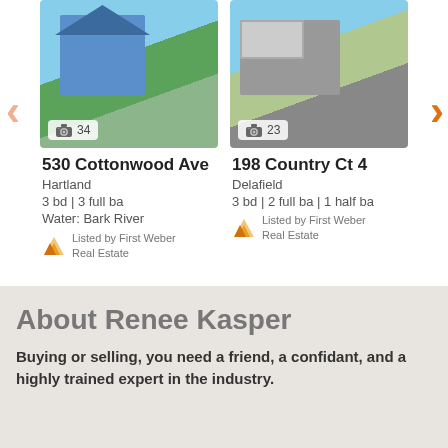[Figure (photo): Photo of blue house at 530 Cottonwood Ave with camera icon and count 34]
530 Cottonwood Ave
Hartland
3 bd | 3 full ba
Water: Bark River
Listed by First Weber Real Estate
[Figure (photo): Photo of gray house at 198 Country Ct 4 with camera icon and count 23]
198 Country Ct 4
Delafield
3 bd | 2 full ba | 1 half ba
Listed by First Weber Real Estate
View more
About Renee Kasper
Buying or selling, you need a friend, a confidant, and a highly trained expert in the industry.